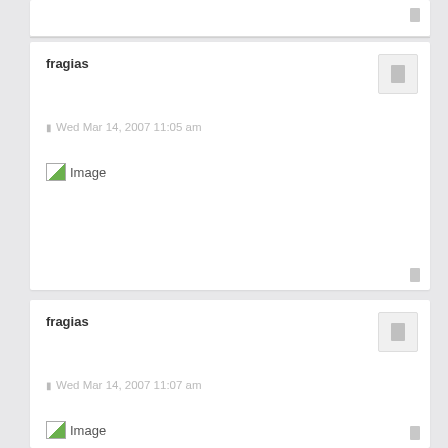fragias
Wed Mar 14, 2007 11:05 am
[Figure (other): Broken image placeholder with text 'Image']
fragias
Wed Mar 14, 2007 11:07 am
[Figure (other): Broken image placeholder with text 'Image']